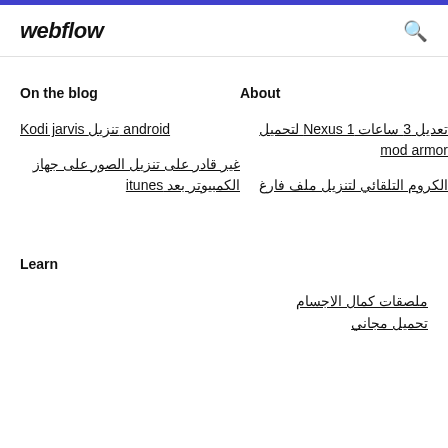webflow
On the blog
About
تنزيل Kodi jarvis android
تعديل 3 ساعات Nexus 1 لتحميل mod armor
غير قادر على تنزيل الصور على جهاز الكمبيوتر بعد itunes
الكروم التلقائي لتنزيل ملف فارغ
Learn
ملصقات كمال الاجسام تحميل مجاني